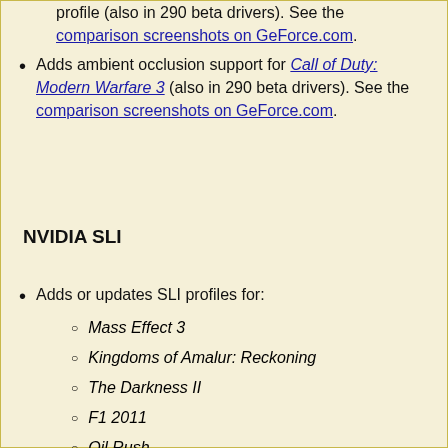profile (also in 290 beta drivers). See the comparison screenshots on GeForce.com.
Adds ambient occlusion support for Call of Duty: Modern Warfare 3 (also in 290 beta drivers). See the comparison screenshots on GeForce.com.
NVIDIA SLI
Adds or updates SLI profiles for:
Mass Effect 3
Kingdoms of Amalur: Reckoning
The Darkness II
F1 2011
Oil Rush
Red Faction: Armageddon
7554